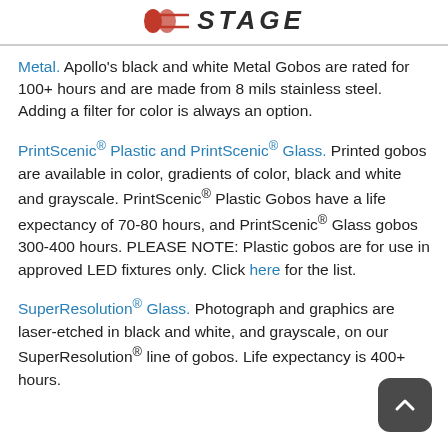STAGE
Metal. Apollo's black and white Metal Gobos are rated for 100+ hours and are made from 8 mils stainless steel. Adding a filter for color is always an option.
PrintScenic® Plastic and PrintScenic® Glass. Printed gobos are available in color, gradients of color, black and white and grayscale. PrintScenic® Plastic Gobos have a life expectancy of 70-80 hours, and PrintScenic® Glass gobos 300-400 hours. PLEASE NOTE: Plastic gobos are for use in approved LED fixtures only. Click here for the list.
SuperResolution® Glass. Photograph and graphics are laser-etched in black and white, and grayscale, on our SuperResolution® line of gobos. Life expectancy is 400+ hours.